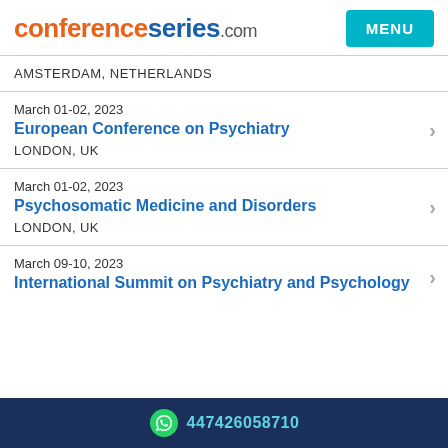conferenceseries.com
AMSTERDAM, NETHERLANDS
March 01-02, 2023 | European Conference on Psychiatry | LONDON, UK
March 01-02, 2023 | Psychosomatic Medicine and Disorders | LONDON, UK
March 09-10, 2023 | International Summit on Psychiatry and Psychology
447426058710